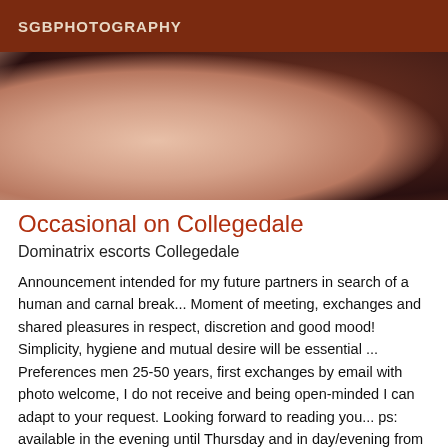SGBPHOTOGRAPHY
[Figure (photo): Close-up photo showing skin and dark fabric/lingerie]
Occasional on Collegedale
Dominatrix escorts Collegedale
Announcement intended for my future partners in search of a human and carnal break... Moment of meeting, exchanges and shared pleasures in respect, discretion and good mood! Simplicity, hygiene and mutual desire will be essential ... Preferences men 25-50 years, first exchanges by email with photo welcome, I do not receive and being open-minded I can adapt to your request. Looking forward to reading you... ps: available in the evening until Thursday and in day/evening from Friday (week of November 12th^^)